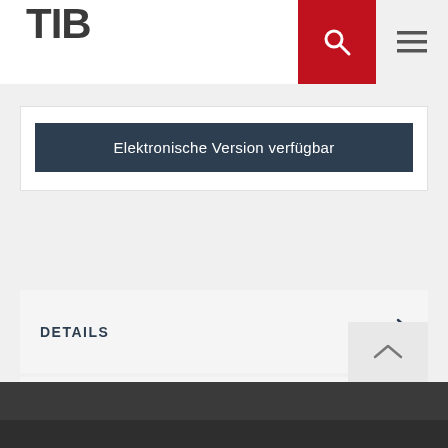TIB
Elektronische Version verfügbar
DETAILS
INHALTSVERZEICHNIS
ÄHNLICHE TITEL